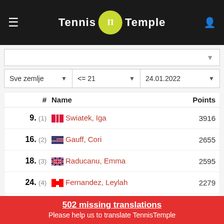Tennis Temple
| # | Name | Points |
| --- | --- | --- |
| 9. (1) | Swiatek, Iga | 3916 |
| 16. (2) | Gauff, Cori | 2655 |
| 18. (3) | Raducanu, Emma | 2595 |
| 24. (4) | Fernandez, Leylah | 2279 |
| 39. (5) | Tauson, Clara | 1459 |
| 44. (6) | Andreescu, Bianca | 1379 |
502 missing translations
Please help us to translate TennisTemple